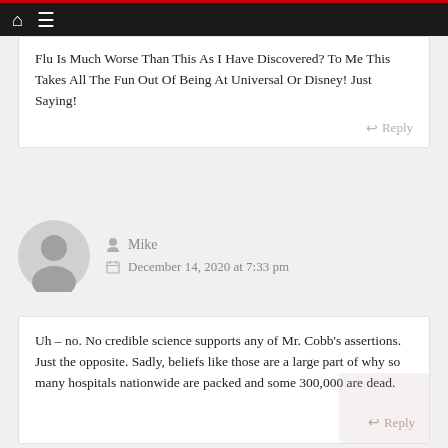Navigation bar with home and menu icons
Flu Is Much Worse Than This As I Have Discovered? To Me This Takes All The Fun Out Of Being At Universal Or Disney! Just Saying!
Reply
Mike
December 14, 2020 at 7:33 pm
Uh – no. No credible science supports any of Mr. Cobb's assertions. Just the opposite. Sadly, beliefs like those are a large part of why so many hospitals nationwide are packed and some 300,000 are dead.
Reply